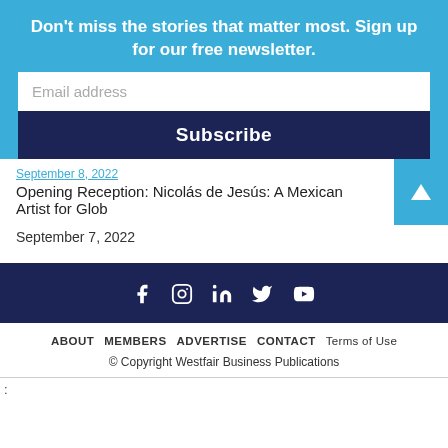Don't miss the stories that matter most. Sign up for our free newsletter.
Email address
Subscribe
September 8, 2022
Opening Reception: Nicolás de Jesús: A Mexican Artist for Glob...
September 7, 2022
[Figure (infographic): Social media icons: Facebook, Instagram, LinkedIn, Twitter, YouTube displayed in white on dark navy background]
ABOUT   MEMBERS   ADVERTISE   CONTACT   Terms of Use
© Copyright Westfair Business Publications
: